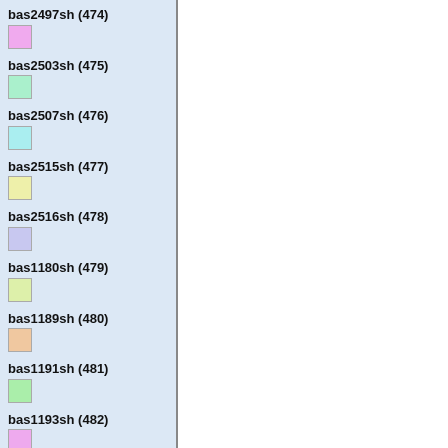bas2497sh (474)
bas2503sh (475)
bas2507sh (476)
bas2515sh (477)
bas2516sh (478)
bas1180sh (479)
bas1189sh (480)
bas1191sh (481)
bas1193sh (482)
bas1199sh (483)